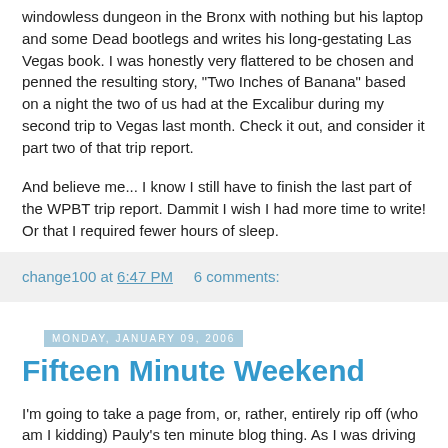windowless dungeon in the Bronx with nothing but his laptop and some Dead bootlegs and writes his long-gestating Las Vegas book. I was honestly very flattered to be chosen and penned the resulting story, "Two Inches of Banana" based on a night the two of us had at the Excalibur during my second trip to Vegas last month. Check it out, and consider it part two of that trip report.
And believe me... I know I still have to finish the last part of the WPBT trip report. Dammit I wish I had more time to write! Or that I required fewer hours of sleep.
change100 at 6:47 PM   6 comments:
Monday, January 09, 2006
Fifteen Minute Weekend
I'm going to take a page from, or, rather, entirely rip off (who am I kidding) Pauly's ten minute blog thing. As I was driving back to the office from lunch, I gazed up at Santa's sleigh and its eight accompanying reindeer, which are still